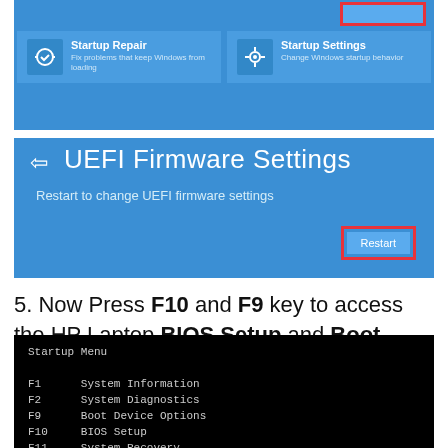[Figure (screenshot): Windows advanced startup options screen showing Startup Repair and Startup Settings tiles on a blue background, with a red-highlighted button in the top right]
[Figure (screenshot): UEFI Firmware Settings screen on blue background with back arrow, title 'UEFI Firmware Settings', subtitle 'Restart to change UEFI firmware settings', and a red-highlighted Restart button in the bottom right]
5. Now Press F10 and F9 key to access the HP Laptop BIOS Setup and Boot Device Options on Windows 10.
[Figure (screenshot): Black HP Startup Menu screen showing: F1 System Information, F2 System Diagnostics, F9 Boot Device Options, F10 BIOS Setup, F11 System Recovery, Enter - Continue Startup]